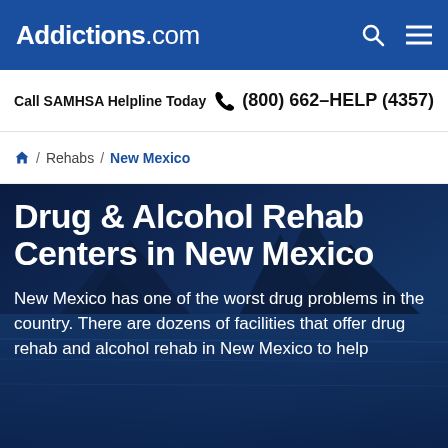Addictions.com
Call SAMHSA Helpline Today  (800) 662-HELP (4357)
🏠 / Rehabs / New Mexico
Drug & Alcohol Rehab Centers in New Mexico
New Mexico has one of the worst drug problems in the country. There are dozens of facilities that offer drug rehab and alcohol rehab in New Mexico to help